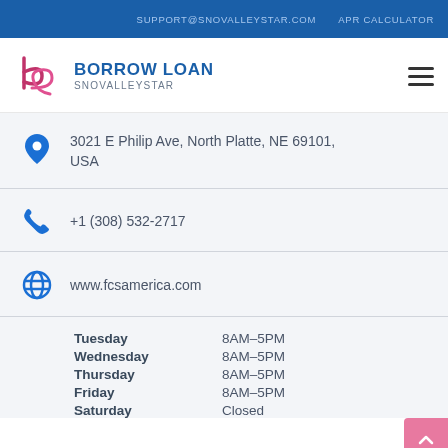SUPPORT@SNOVALLEYSTAR.COM   APR CALCULATOR
[Figure (logo): Borrow Loan Snovalleystar logo with stylized b icon in pink/magenta]
3021 E Philip Ave, North Platte, NE 69101, USA
+1 (308) 532-2717
www.fcsamerica.com
Tuesday   8AM-5PM
Wednesday   8AM-5PM
Thursday   8AM-5PM
Friday   8AM-5PM
Saturday   Closed